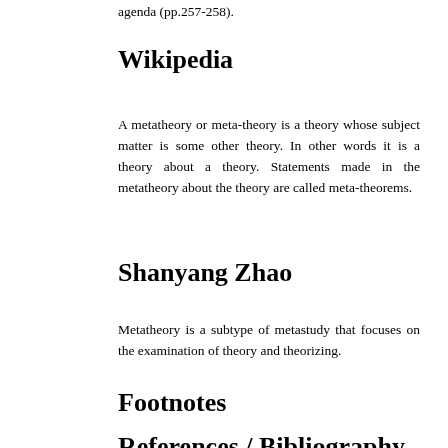agenda (pp.257-258).
Wikipedia
A metatheory or meta-theory is a theory whose subject matter is some other theory. In other words it is a theory about a theory. Statements made in the metatheory about the theory are called meta-theorems.
Shanyang Zhao
Metatheory is a subtype of metastudy that focuses on the examination of theory and theorizing.
Footnotes
References / Bibliography